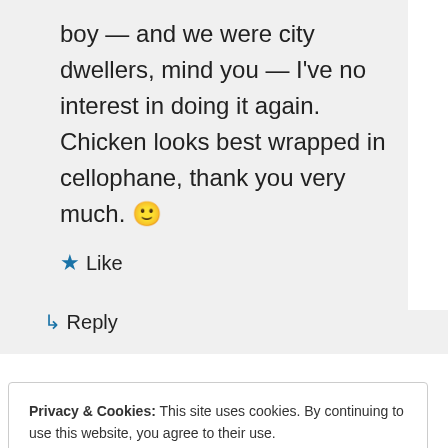boy — and we were city dwellers, mind you — I've no interest in doing it again. Chicken looks best wrapped in cellophane, thank you very much. 🙂
★ Like
↵ Reply
Privacy & Cookies: This site uses cookies. By continuing to use this website, you agree to their use. To find out more, including how to control cookies, see here: Cookie Policy
Close and accept